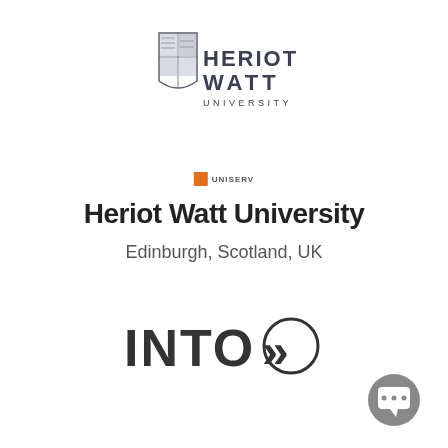[Figure (logo): Heriot Watt University crest and wordmark logo with shield emblem]
[Figure (logo): UNISERV small orange square badge with text]
Heriot Watt University
Edinburgh, Scotland, UK
[Figure (logo): INTO double-chevron logo in dark grey]
[Figure (illustration): Chat bubble icon with ellipsis dots, grey circular button]